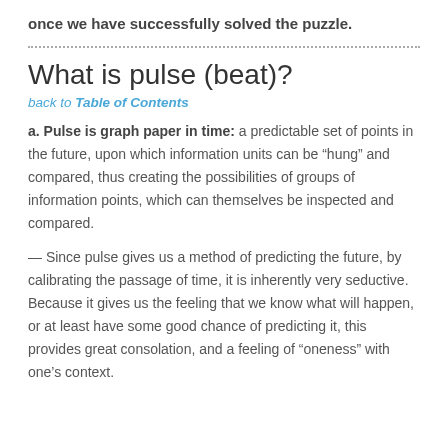once we have successfully solved the puzzle.
What is pulse (beat)?
back to Table of Contents
a. Pulse is graph paper in time: a predictable set of points in the future, upon which information units can be “hung” and compared, thus creating the possibilities of groups of information points, which can themselves be inspected and compared.
— Since pulse gives us a method of predicting the future, by calibrating the passage of time, it is inherently very seductive. Because it gives us the feeling that we know what will happen, or at least have some good chance of predicting it, this provides great consolation, and a feeling of “oneness” with one’s context.